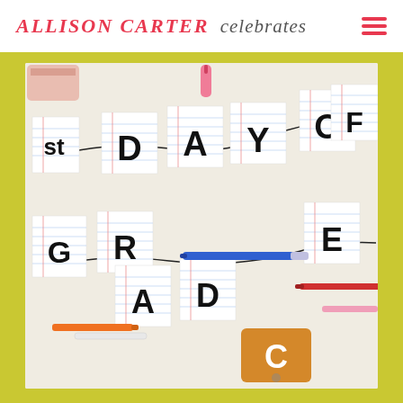ALLISON CARTER celebrates
[Figure (photo): A banner made of notebook paper squares spelling out '1st DAY OF GRADE' hung on strings, surrounded by scattered markers and crayons on a light background. An orange flashcard with letter C is visible at the bottom right.]